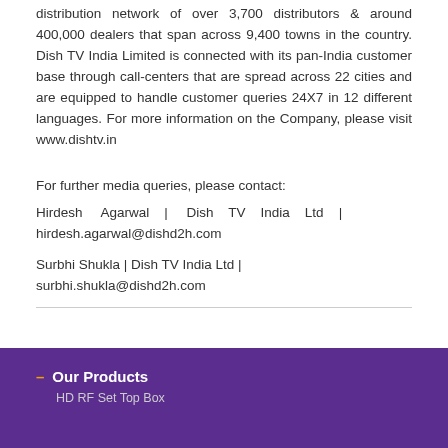distribution network of over 3,700 distributors & around 400,000 dealers that span across 9,400 towns in the country. Dish TV India Limited is connected with its pan-India customer base through call-centers that are spread across 22 cities and are equipped to handle customer queries 24X7 in 12 different languages. For more information on the Company, please visit www.dishtv.in
For further media queries, please contact:
Hirdesh Agarwal | Dish TV India Ltd | hirdesh.agarwal@dishd2h.com
Surbhi Shukla | Dish TV India Ltd | surbhi.shukla@dishd2h.com
Our Products
HD RF Set Top Box